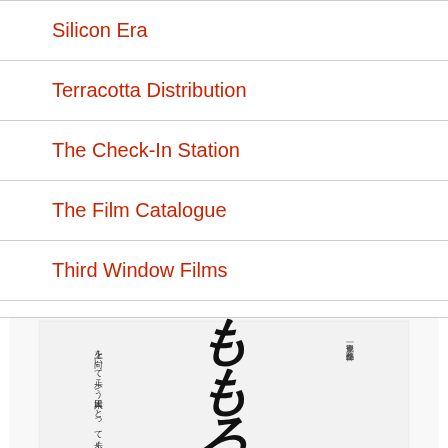Silicon Era
Terracotta Distribution
The Check-In Station
The Film Catalogue
Third Window Films
[Figure (photo): Japanese film poster or book cover with Japanese calligraphy text including the characters もも ろ そ and vertical Japanese text on left side, white background]